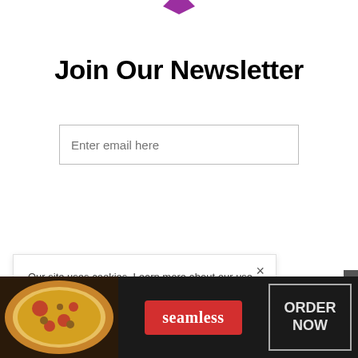[Figure (logo): Purple/pink downward arrow or chevron logo at top center]
Join Our Newsletter
[Figure (screenshot): Email input field with placeholder text 'Enter email here']
[Figure (screenshot): Blue Subscribe button]
Our site uses cookies. Learn more about our use of cookies: cookie policy
[Figure (infographic): Seamless food ordering advertisement banner with pizza image, seamless logo button, and ORDER NOW button]